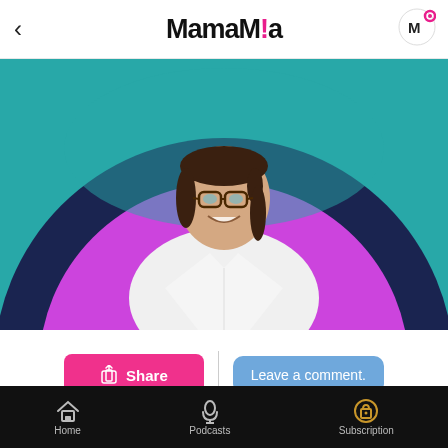< MamaMia
[Figure (photo): Woman with glasses and dark hair wearing a white blazer, posed in front of a large purple/magenta circle on a teal/dark navy background. App screenshot style hero image.]
Share   Leave a comment.
...
Home   Podcasts   Subscription